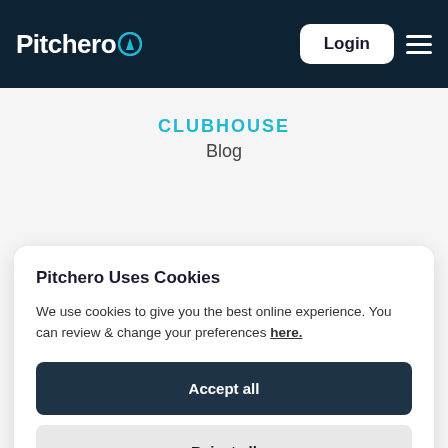Pitchero — Login — Menu
CLUBHOUSE
Blog
Pitchero Uses Cookies
We use cookies to give you the best online experience. You can review & change your preferences here.
Accept all
Reject all